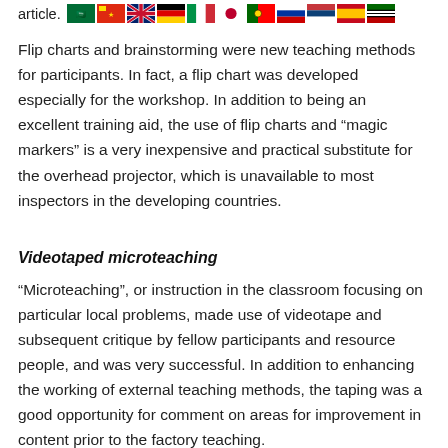article.
[Figure (illustration): Row of country flags: Saudi Arabia, China, UK, Germany, Italy, Japan, Portugal, Russia, Serbia, Spain, Kenya]
Flip charts and brainstorming were new teaching methods for participants. In fact, a flip chart was developed especially for the workshop. In addition to being an excellent training aid, the use of flip charts and “magic markers” is a very inexpensive and practical substitute for the overhead projector, which is unavailable to most inspectors in the developing countries.
Videotaped microteaching
“Microteaching”, or instruction in the classroom focusing on particular local problems, made use of videotape and subsequent critique by fellow participants and resource people, and was very successful. In addition to enhancing the working of external teaching methods, the taping was a good opportunity for comment on areas for improvement in content prior to the factory teaching.